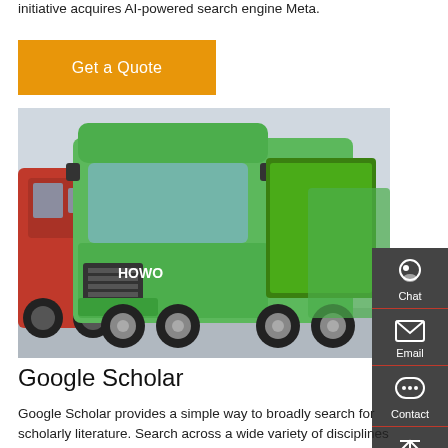initiative acquires AI-powered search engine Meta.
[Figure (other): Orange 'Get a Quote' button]
[Figure (photo): A green HOWO dump truck parked in a lot, with a red truck visible on the left and additional green trucks in the background.]
[Figure (other): Sidebar with Chat, Email, Contact, and Top navigation icons on dark gray background]
Google Scholar
Google Scholar provides a simple way to broadly search for scholarly literature. Search across a wide variety of disciplines